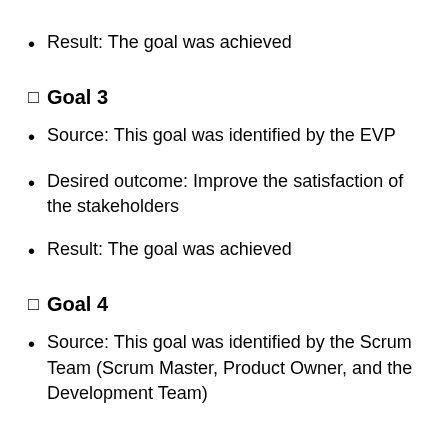Result: The goal was achieved
Goal 3
Source: This goal was identified by the EVP
Desired outcome: Improve the satisfaction of the stakeholders
Result: The goal was achieved
Goal 4
Source: This goal was identified by the Scrum Team (Scrum Master, Product Owner, and the Development Team)